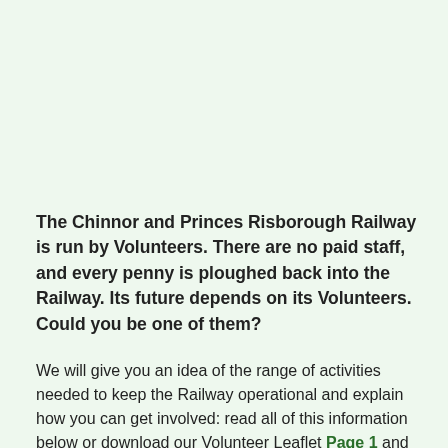The Chinnor and Princes Risborough Railway is run by Volunteers. There are no paid staff, and every penny is ploughed back into the Railway. Its future depends on its Volunteers. Could you be one of them?
We will give you an idea of the range of activities needed to keep the Railway operational and explain how you can get involved: read all of this information below or download our Volunteer Leaflet Page 1 and Page 2.